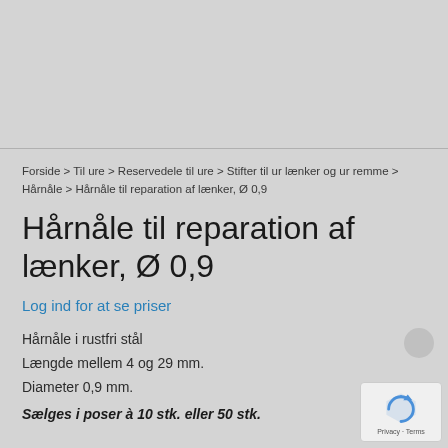Forside > Til ure > Reservedele til ure > Stifter til ur lænker og ur remme > Hårnåle > Hårnåle til reparation af lænker, Ø 0,9
Hårnåle til reparation af lænker, Ø 0,9
Log ind for at se priser
Hårnåle i rustfri stål
Længde mellem 4 og 29 mm.
Diameter 0,9 mm.
Sælges i poser à 10 stk. eller 50 stk.